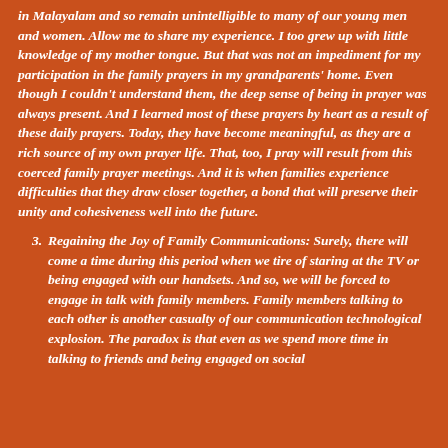in Malayalam and so remain unintelligible to many of our young men and women. Allow me to share my experience. I too grew up with little knowledge of my mother tongue. But that was not an impediment for my participation in the family prayers in my grandparents' home. Even though I couldn't understand them, the deep sense of being in prayer was always present. And I learned most of these prayers by heart as a result of these daily prayers. Today, they have become meaningful, as they are a rich source of my own prayer life. That, too, I pray will result from this coerced family prayer meetings. And it is when families experience difficulties that they draw closer together, a bond that will preserve their unity and cohesiveness well into the future.
3. Regaining the Joy of Family Communications: Surely, there will come a time during this period when we tire of staring at the TV or being engaged with our handsets. And so, we will be forced to engage in talk with family members. Family members talking to each other is another casualty of our communication technological explosion. The paradox is that even as we spend more time in talking to friends and being engaged on social